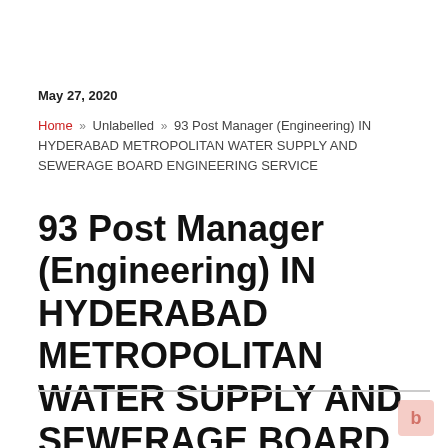May 27, 2020
Home » Unlabelled » 93 Post Manager (Engineering) IN HYDERABAD METROPOLITAN WATER SUPPLY AND SEWERAGE BOARD ENGINEERING SERVICE
93 Post Manager (Engineering) IN HYDERABAD METROPOLITAN WATER SUPPLY AND SEWERAGE BOARD ENGINEERING SERVICE